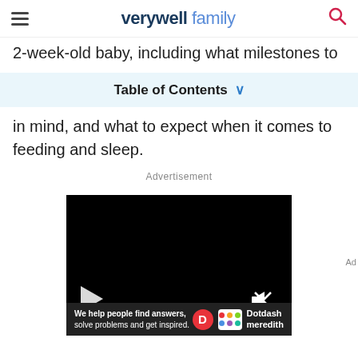verywell family
2-week-old baby, including what milestones to
Table of Contents
in mind, and what to expect when it comes to feeding and sleep.
Advertisement
[Figure (screenshot): Black video player with play button and mute button, with a Dotdash Meredith branding bar at the bottom reading 'We help people find answers, solve problems and get inspired.']